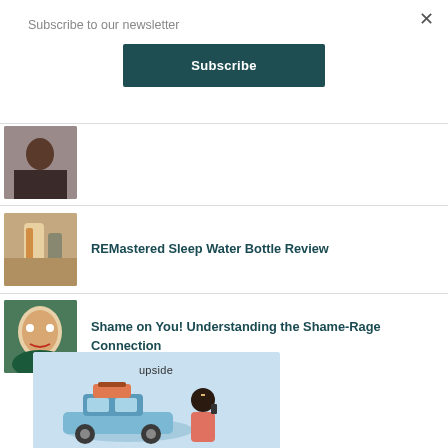Subscribe to our newsletter
Subscribe
×
[Figure (photo): Partial thumbnail of an article, person visible]
[Figure (photo): Thumbnail showing a water bottle and drink]
REMastered Sleep Water Bottle Review
[Figure (photo): Thumbnail showing a person with colorful face paint]
Shame on You! Understanding the Shame-Rage Connection
[Figure (illustration): Upside app advertisement illustration showing a car and a person talking on a phone]